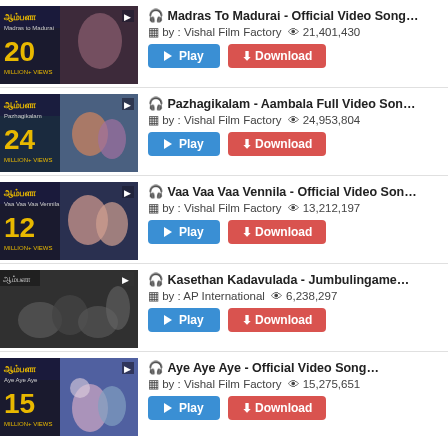Madras To Madurai - Official Video Song... by : Vishal Film Factory  21,401,430
Pazhagikalam - Aambala Full Video Son... by : Vishal Film Factory  24,953,804
Vaa Vaa Vaa Vennila - Official Video Son... by : Vishal Film Factory  13,212,197
Kasethan Kadavulada - Jumbulingame... by : AP International  6,238,297
Aye Aye Aye - Official Video Song... by : Vishal Film Factory  15,275,651